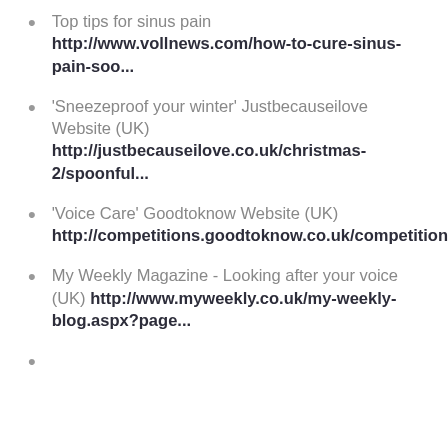Top tips for sinus pain http://www.vollnews.com/how-to-cure-sinus-pain-soo...
'Sneezeproof your winter' Justbecauseilove Website (UK) http://justbecauseilove.co.uk/christmas-2/spoonful...
'Voice Care' Goodtoknow Website (UK) http://competitions.goodtoknow.co.uk/competition/s...
My Weekly Magazine - Looking after your voice (UK) http://www.myweekly.co.uk/my-weekly-blog.aspx?page...
(partial, cut off at bottom)